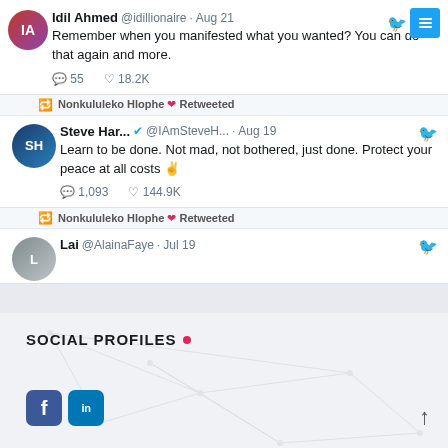[Figure (screenshot): Twitter/social media feed screenshot showing tweets from Idil Ahmed, Steve Harvey (retweeted by Nonkululeko Hlophe), and the beginning of a tweet from Lai @AlainaFaye, with social profile icons at the bottom.]
Idil Ahmed @idillionaire · Aug 21
Remember when you manifested what you wanted? You can do that again and more.
💬 55  ♡ 18.2K
Nonkululeko Hlophe ❤ Retweeted
Steve Har... ✓ @IAmSteveH... · Aug 19
Learn to be done. Not mad, not bothered, just done. Protect your peace at all costs ✌
💬 1,093  ♡ 144.9K
Nonkululeko Hlophe ❤ Retweeted
Lai @AlainaFaye · Jul 19
SOCIAL PROFILES
[Figure (logo): Facebook and LinkedIn social media icons]